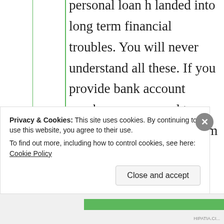personal loan h landed into long term financial troubles. You will never understand all these. If you provide bank account number you no need to involve bank officials. I am telling now too their involvement is not necessary when I am one who’s gonna send money
Privacy & Cookies: This site uses cookies. By continuing to use this website, you agree to their use. To find out more, including how to control cookies, see here: Cookie Policy
Close and accept